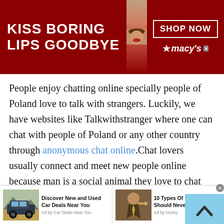[Figure (screenshot): Top banner advertisement for Macy's lipstick with text 'KISS BORING LIPS GOODBYE', image of woman's lips, and 'SHOP NOW' button with Macy's star logo]
People enjoy chatting online specially people of Poland love to talk with strangers. Luckily, we have websites like Talkwithstranger where one can chat with people of Poland or any other country through anonymous chat online.Chat lovers usually connect and meet new people online because man is a social animal they love to chat with people of Poland. A person must socialize to prosper in the world. This social network helps a person to live their life joyfully.
[Figure (screenshot): Bottom advertisement bar with two ads: 'Discover New and Used Car Deals Near You' (Ad by Car Deals Near You) and '10 Types Of Men You Should Never Marry' (Ad by Nuzey)]